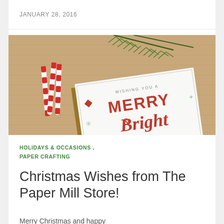JANUARY 28, 2016
[Figure (photo): A Christmas card reading 'Wishing You A Merry & Bright' with red decorative lettering, displayed alongside candy cane striped straws and pine branches on a burlap background.]
HOLIDAYS & OCCASIONS , PAPER CRAFTING
Christmas Wishes from The Paper Mill Store!
Merry Christmas and happy